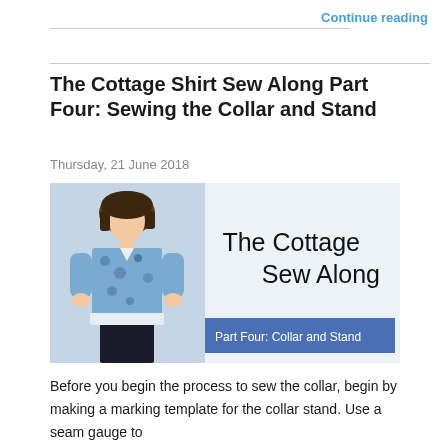Continue reading
The Cottage Shirt Sew Along Part Four: Sewing the Collar and Stand
Thursday, 21 June 2018
[Figure (photo): A woman wearing a blue floral short-sleeve shirt standing next to text reading 'The Cottage Sew Along, Part Four: Collar and Stand' on a blue banner]
Before you begin the process to sew the collar, begin by making a marking template for the collar stand. Use a seam gauge to